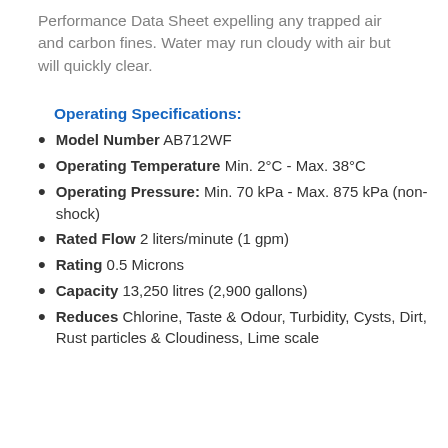Performance Data Sheet expelling any trapped air and carbon fines. Water may run cloudy with air but will quickly clear.
Operating Specifications:
Model Number AB712WF
Operating Temperature Min. 2°C - Max. 38°C
Operating Pressure: Min. 70 kPa - Max. 875 kPa (non-shock)
Rated Flow 2 liters/minute (1 gpm)
Rating 0.5 Microns
Capacity 13,250 litres (2,900 gallons)
Reduces Chlorine, Taste & Odour, Turbidity, Cysts, Dirt, Rust particles & Cloudiness, Lime scale